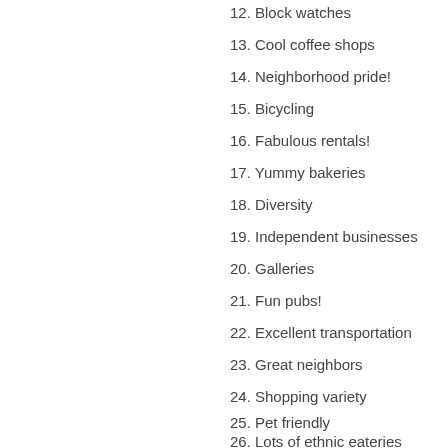12. Block watches
13. Cool coffee shops
14. Neighborhood pride!
15. Bicycling
16. Fabulous rentals!
17. Yummy bakeries
18. Diversity
19. Independent businesses
20. Galleries
21. Fun pubs!
22. Excellent transportation
23. Great neighbors
24. Shopping variety
25. Pet friendly
26. Lots of ethnic eateries